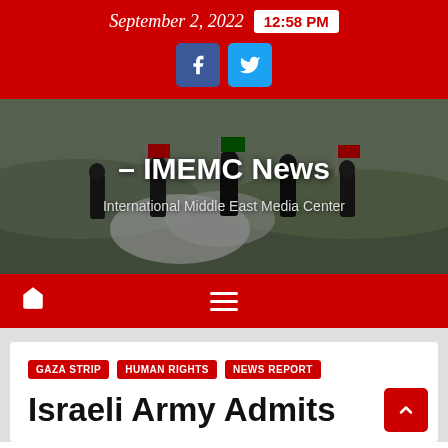September 2, 2022  12:58 PM
[Figure (photo): People waving Palestinian flags at a protest, smoke in the background. Overlay text: – IMEMC News, International Middle East Media Center]
Navigation bar with home icon and menu icon
GAZA STRIP
HUMAN RIGHTS
NEWS REPORT
Israeli Army Admits